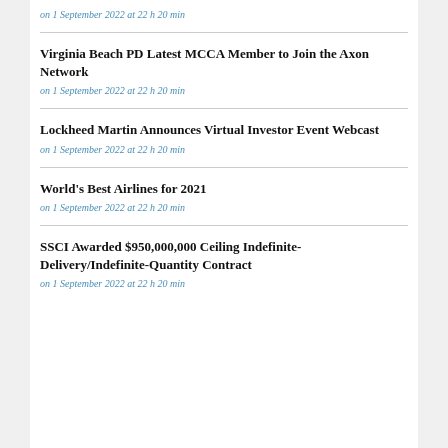on 1 September 2022 at 22 h 20 min
Virginia Beach PD Latest MCCA Member to Join the Axon Network
on 1 September 2022 at 22 h 20 min
Lockheed Martin Announces Virtual Investor Event Webcast
on 1 September 2022 at 22 h 20 min
World's Best Airlines for 2021
on 1 September 2022 at 22 h 20 min
SSCI Awarded $950,000,000 Ceiling Indefinite-Delivery/Indefinite-Quantity Contract
on 1 September 2022 at 22 h 20 min